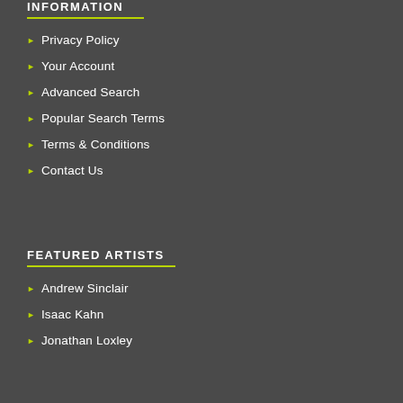INFORMATION
Privacy Policy
Your Account
Advanced Search
Popular Search Terms
Terms & Conditions
Contact Us
FEATURED ARTISTS
Andrew Sinclair
Isaac Kahn
Jonathan Loxley